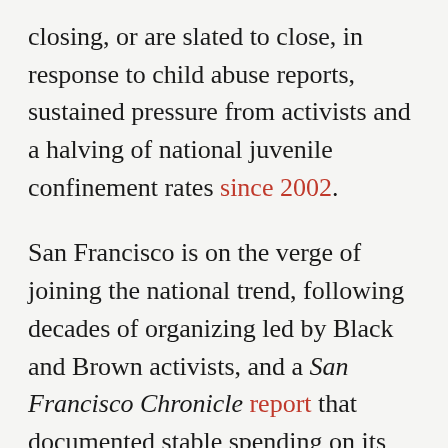closing, or are slated to close, in response to child abuse reports, sustained pressure from activists and a halving of national juvenile confinement rates since 2002.
San Francisco is on the verge of joining the national trend, following decades of organizing led by Black and Brown activists, and a San Francisco Chronicle report that documented stable spending on its juvenile prison, despite a 50 percent decrease in its population since 2011.
On May 16, the San Francisco Board of Supervisors voted eight to three — a veto-proof